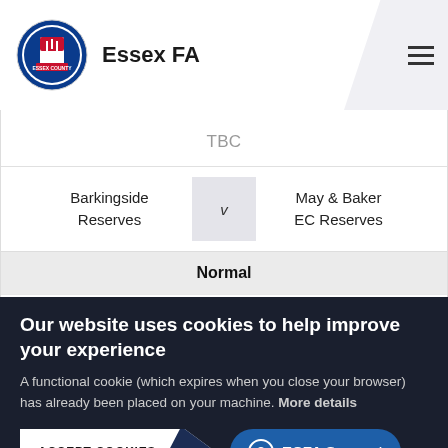Essex FA
TBC
Barkingside Reserves v May & Baker EC Reserves
Normal
41
Our website uses cookies to help improve your experience
A functional cookie (which expires when you close your browser) has already been placed on your machine. More details
ACCEPT COOKIES
ECFA Support